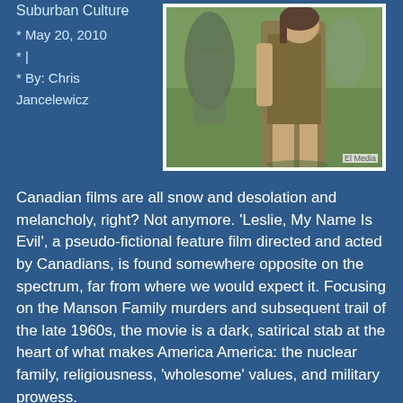Suburban Culture
* May 20, 2010
* |
* By: Chris Jancelewicz
[Figure (photo): A young woman in an olive tank top standing outdoors on grass, photographed from the side/back. Photo credit: El Media]
Canadian films are all snow and desolation and melancholy, right? Not anymore. 'Leslie, My Name Is Evil', a pseudo-fictional feature film directed and acted by Canadians, is found somewhere opposite on the spectrum, far from where we would expect it. Focusing on the Manson Family murders and subsequent trail of the late 1960s, the movie is a dark, satirical stab at the heart of what makes America America: the nuclear family, religiousness, 'wholesome' values, and military prowess.
In his film, director Reginald Harkema (known for his zany style and outlandish hair) looks specifically at one of the Manson girls at trial, Leslie Van Houten (Kristen Hager)...